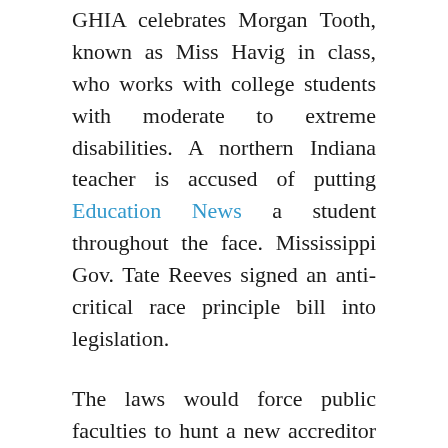GHIA celebrates Morgan Tooth, known as Miss Havig in class, who works with college students with moderate to extreme disabilities. A northern Indiana teacher is accused of putting Education News a student throughout the face. Mississippi Gov. Tate Reeves signed an anti-critical race principle bill into legislation.
The laws would force public faculties to hunt a new accreditor and has raised issues it'll undermine tutorial freedom. California fast-tracked laws lifting a judicially ordered cap on college students, averting college plans to cut in-person enrollment by 2,600. Officials received complaints including colleges misrepresenting what GI Bill advantages would cowl and college students not figuring out they took out loans. The payments included the end to the pandemic-